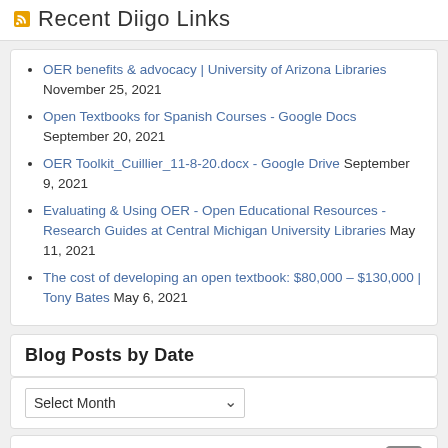Recent Diigo Links
OER benefits & advocacy | University of Arizona Libraries November 25, 2021
Open Textbooks for Spanish Courses - Google Docs September 20, 2021
OER Toolkit_Cuillier_11-8-20.docx - Google Drive September 9, 2021
Evaluating & Using OER - Open Educational Resources - Research Guides at Central Michigan University Libraries May 11, 2021
The cost of developing an open textbook: $80,000 – $130,000 | Tony Bates May 6, 2021
Blog Posts by Date
Select Month
Blog Posts by Category